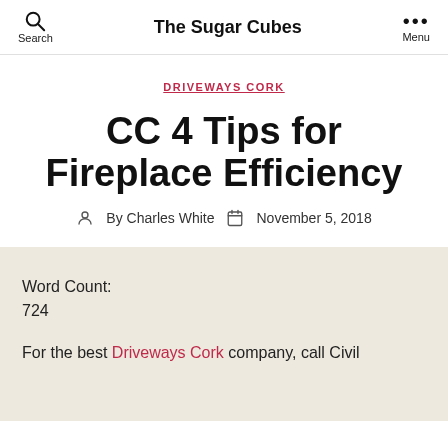The Sugar Cubes
DRIVEWAYS CORK
CC 4 Tips for Fireplace Efficiency
By Charles White  November 5, 2018
Word Count:
724
For the best Driveways Cork company, call Civil